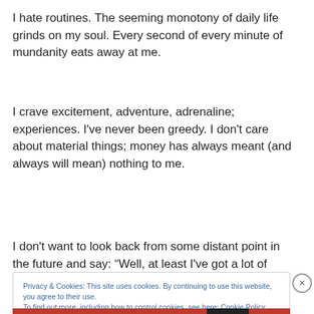I hate routines. The seeming monotony of daily life grinds on my soul. Every second of every minute of mundanity eats away at me.
I crave excitement, adventure, adrenaline; experiences. I've never been greedy. I don't care about material things; money has always meant (and always will mean) nothing to me.
I don't want to look back from some distant point in the future and say: “Well, at least I've got a lot of stuff.”
Privacy & Cookies: This site uses cookies. By continuing to use this website, you agree to their use.
To find out more, including how to control cookies, see here: Cookie Policy
Close and accept